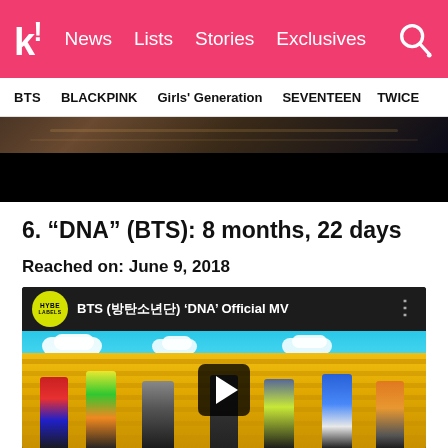k! News Lists Stories Exclusives
BTS  BLACKPINK  Girls' Generation  SEVENTEEN  TWICE
[Figure (screenshot): Dark cinematic still from a music video, top portion visible, fading to black]
6. “DNA” (BTS): 8 months, 22 days
Reached on: June 9, 2018
[Figure (screenshot): YouTube embed of BTS (방탄소년단) 'DNA' Official MV by HYBE LABELS. Shows BTS members standing in front of a yellow wall with blue sky. Play button overlay visible in center.]